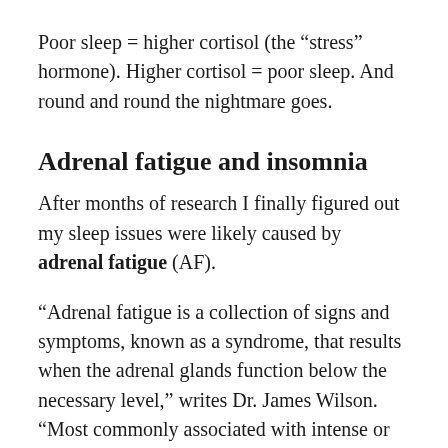Poor sleep = higher cortisol (the “stress” hormone). Higher cortisol = poor sleep. And round and round the nightmare goes.
Adrenal fatigue and insomnia
After months of research I finally figured out my sleep issues were likely caused by adrenal fatigue (AF).
“Adrenal fatigue is a collection of signs and symptoms, known as a syndrome, that results when the adrenal glands function below the necessary level,” writes Dr. James Wilson. “Most commonly associated with intense or prolonged stress, it can also arise during or after acute or chronic infections, especially respiratory